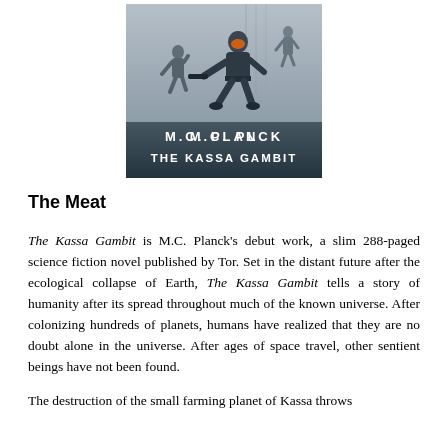[Figure (illustration): Book cover for 'The Kassa Gambit' by M.C. Planck, showing action figures in a sci-fi setting with the title and author name at the bottom.]
The Meat
The Kassa Gambit is M.C. Planck's debut work, a slim 288-paged science fiction novel published by Tor. Set in the distant future after the ecological collapse of Earth, The Kassa Gambit tells a story of humanity after its spread throughout much of the known universe. After colonizing hundreds of planets, humans have realized that they are no doubt alone in the universe. After ages of space travel, other sentient beings have not been found.
The destruction of the small farming planet of Kassa throws